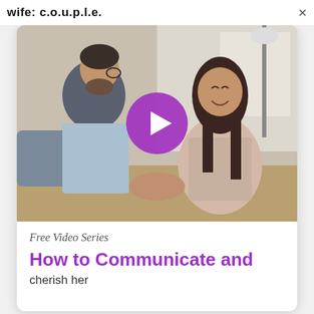wife: c.o.u.p.l.e.
[Figure (photo): A couple sitting together and laughing, the woman smiling broadly and the man facing away from camera wearing glasses and a light blue shirt. A purple circular play button overlay is centered on the image.]
Free Video Series
How to Communicate and
cherish her